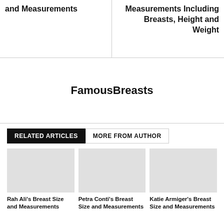and Measurements
Measurements Including Breasts, Height and Weight
FamousBreasts
RELATED ARTICLES
MORE FROM AUTHOR
[Figure (photo): Placeholder image for Rah Ali article]
[Figure (photo): Placeholder image for Petra Conti article]
[Figure (photo): Placeholder image for Katie Armiger article]
Rah Ali's Breast Size and Measurements
Petra Conti's Breast Size and Measurements
Katie Armiger's Breast Size and Measurements